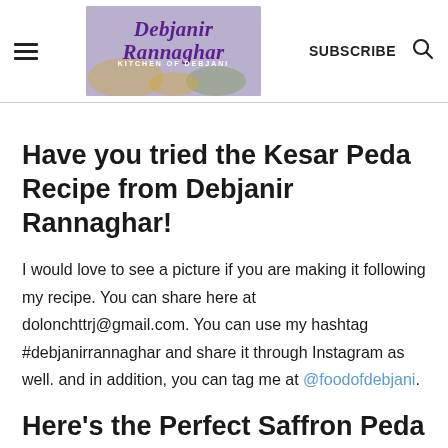Debjanir Rannaghar | KITCHEN OF DEBJANI | SUBSCRIBE
Have you tried the Kesar Peda Recipe from Debjanir Rannaghar!
I would love to see a picture if you are making it following my recipe. You can share here at dolonchttrj@gmail.com. You can use my hashtag #debjanirrannaghar and share it through Instagram as well. and in addition, you can tag me at @foodofdebjani.
Here's the Perfect Saffron Peda Recipe Pin for your